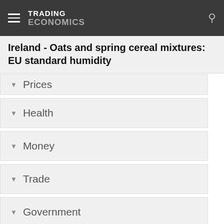TRADING ECONOMICS
Ireland - Oats and spring cereal mixtures: EU standard humidity
Prices
Health
Money
Trade
Government
Business
Consumer
Housing